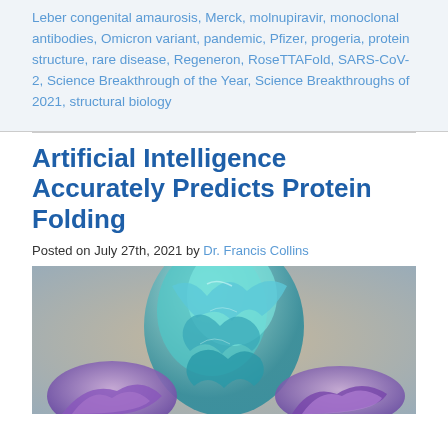Leber congenital amaurosis, Merck, molnupiravir, monoclonal antibodies, Omicron variant, pandemic, Pfizer, progeria, protein structure, rare disease, Regeneron, RoseTTAFold, SARS-CoV-2, Science Breakthrough of the Year, Science Breakthroughs of 2021, structural biology
Artificial Intelligence Accurately Predicts Protein Folding
Posted on July 27th, 2021 by Dr. Francis Collins
[Figure (photo): A colorful 3D rendering of a protein structure showing teal/cyan and purple folded protein chains against a neutral beige/grey background.]